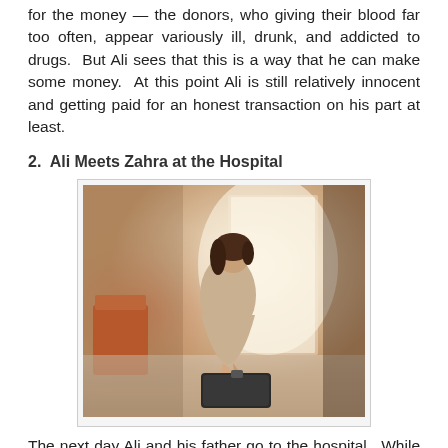for the money — the donors, who giving their blood far too often, appear variously ill, drunk, and addicted to drugs.  But Ali sees that this is a way that he can make some money.  At this point Ali is still relatively innocent and getting paid for an honest transaction on his part at least.
2.  Ali Meets Zahra at the Hospital
[Figure (photo): A woman sitting on a suitcase or box in what appears to be a hospital or building hallway, with bright light coming through a door or window behind her. She is wearing a light-colored dress and appears to be in her twenties.]
The next day Ali and his father go to the hospital.  While his father is consulting a doctor, Ali wanders the halls and meets Zahra, a nurse who appears to be in her twenties but who takes a